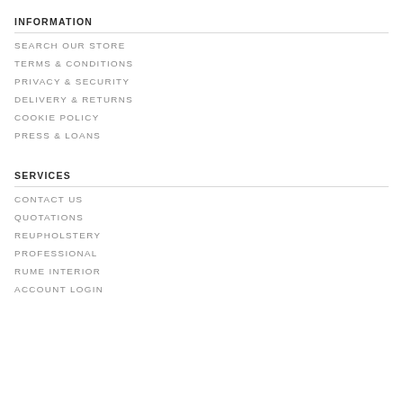INFORMATION
SEARCH OUR STORE
TERMS & CONDITIONS
PRIVACY & SECURITY
DELIVERY & RETURNS
COOKIE POLICY
PRESS & LOANS
SERVICES
CONTACT US
QUOTATIONS
REUPHOLSTERY
PROFESSIONAL
RUME INTERIOR
ACCOUNT LOGIN